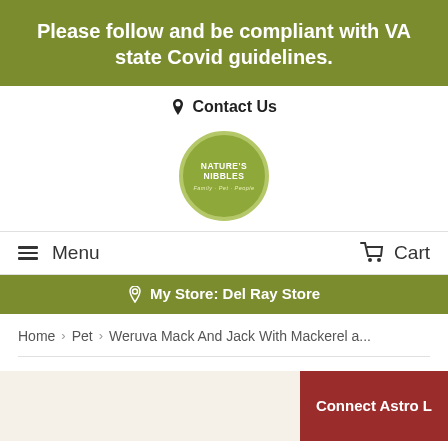Please follow and be compliant with VA state Covid guidelines.
Contact Us
[Figure (logo): Nature's Nibbles circular logo with olive green background]
Menu
Cart
My Store: Del Ray Store
Home > Pet > Weruva Mack And Jack With Mackerel a...
[Figure (other): Connect Astro L button (partial, red background)]